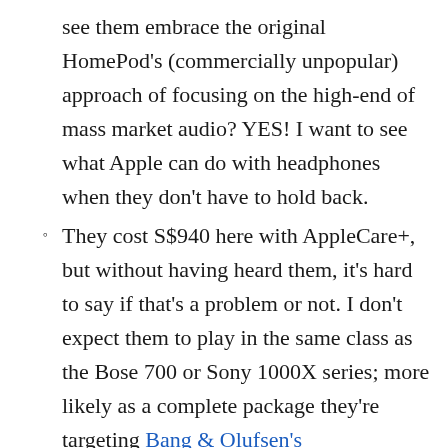see them embrace the original HomePod's (commercially unpopular) approach of focusing on the high-end of mass market audio? YES! I want to see what Apple can do with headphones when they don't have to hold back.
They cost S$940 here with AppleCare+, but without having heard them, it's hard to say if that's a problem or not. I don't expect them to play in the same class as the Bose 700 or Sony 1000X series; more likely as a complete package they're targeting Bang & Olufsen's Beoplay H95, which go for $00...